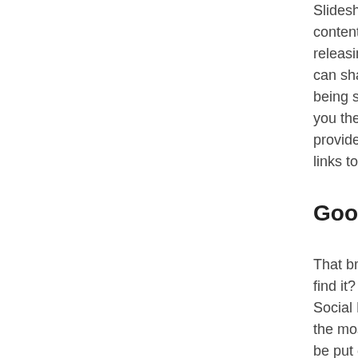Slideshare experience, content as part of releasing a big re can share across being strategic ab you their email ac provide their ema links to your Slide
Good content
That brings us to find it? Well, it's c Social Media Mar the most importa be put out into th
A good tip from A shareable and sm tips, then take inc You can share th week, of course b
So you're wond